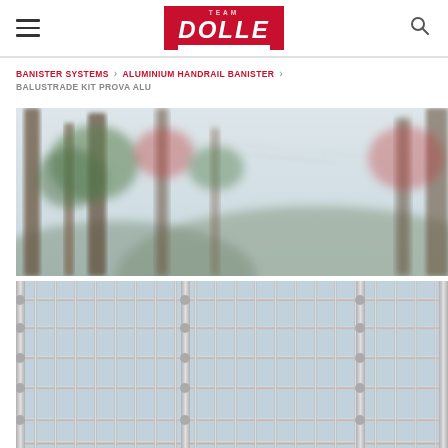DOLLE
BANISTER SYSTEMS > ALUMINIUM HANDRAIL BANISTER > BALUSTRADE KIT PROVA ALU
[Figure (photo): Two-part product photo: top half shows blurred outdoor background with trees and foliage; bottom half shows a close-up of an aluminium horizontal-rail balustrade system with vertical spindles and connecting hardware, with grey/silver metallic finish.]